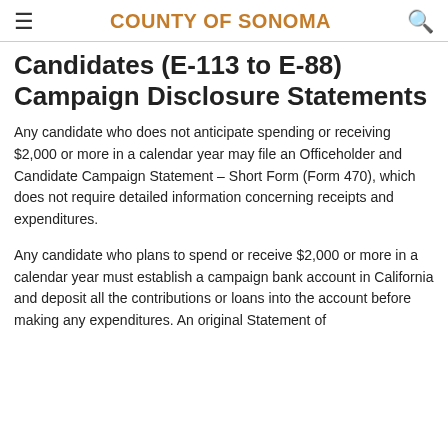COUNTY OF SONOMA
Candidates (E-113 to E-88) Campaign Disclosure Statements
Any candidate who does not anticipate spending or receiving $2,000 or more in a calendar year may file an Officeholder and Candidate Campaign Statement – Short Form (Form 470), which does not require detailed information concerning receipts and expenditures.
Any candidate who plans to spend or receive $2,000 or more in a calendar year must establish a campaign bank account in California and deposit all the contributions or loans into the account before making any expenditures. An original Statement of